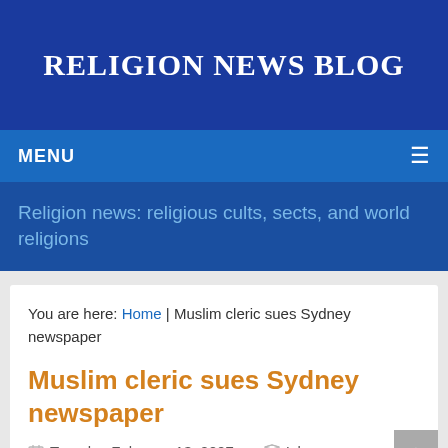RELIGION NEWS BLOG
MENU
Religion news: religious cults, sects, and world religions
You are here: Home | Muslim cleric sues Sydney newspaper
Muslim cleric sues Sydney newspaper
Tuesday February 13, 2007   Islam